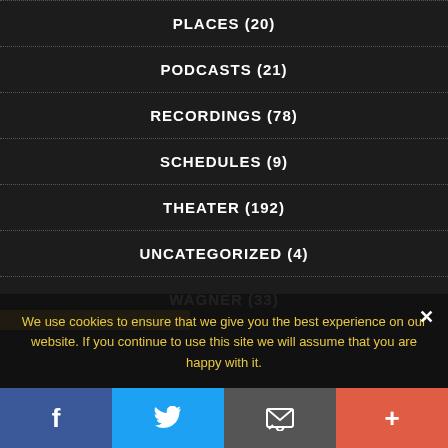PLACES (20)
PODCASTS (21)
RECORDINGS (78)
SCHEDULES (9)
THEATER (192)
UNCATEGORIZED (4)
WAGNER (33)
We use cookies to ensure that we give you the best experience on our website. If you continue to use this site we will assume that you are happy with it.
f  [Twitter]  [Email]  +